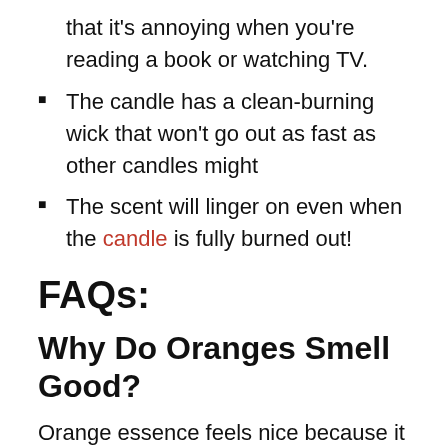that it's annoying when you're reading a book or watching TV.
The candle has a clean-burning wick that won't go out as fast as other candles might
The scent will linger on even when the candle is fully burned out!
FAQs:
Why Do Oranges Smell Good?
Orange essence feels nice because it contains several volatile substances that have pleasant aromas.
How Often Should a Candle Be